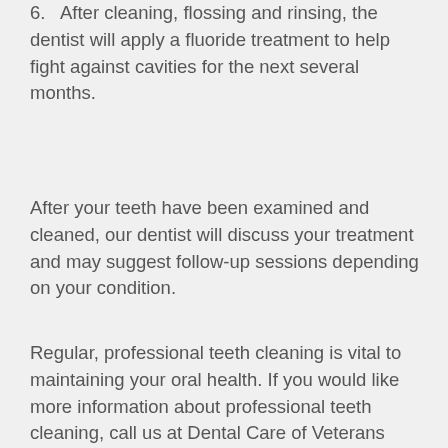6. After cleaning, flossing and rinsing, the dentist will apply a fluoride treatment to help fight against cavities for the next several months.
After your teeth have been examined and cleaned, our dentist will discuss your treatment and may suggest follow-up sessions depending on your condition.
Regular, professional teeth cleaning is vital to maintaining your oral health. If you would like more information about professional teeth cleaning, call us at Dental Care of Veterans Parkway at 615-